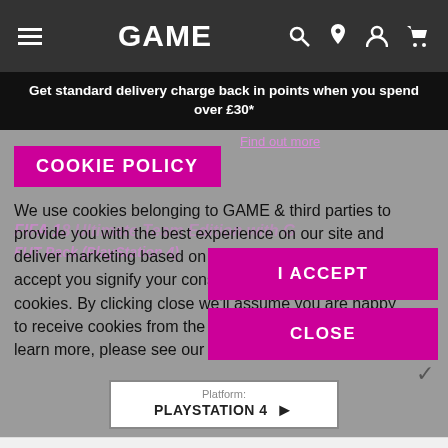[Figure (screenshot): GAME website navigation bar with hamburger menu, GAME logo, search, location, account, and cart icons on dark background]
Get standard delivery charge back in points when you spend over £30*
COOKIE POLICY
We use cookies belonging to GAME & third parties to provide you with the best experience on our site and deliver marketing based on your interests. By clicking I accept you signify your consent to the use of these cookies. By clicking close we'll assume you are happy to receive cookies from the game.co.uk website. To learn more, please see our COOKIE POLICY.
I ACCEPT
CLOSE
SORRY, THIS PRODUCT IS CURRENTLY OUT OF STOCK